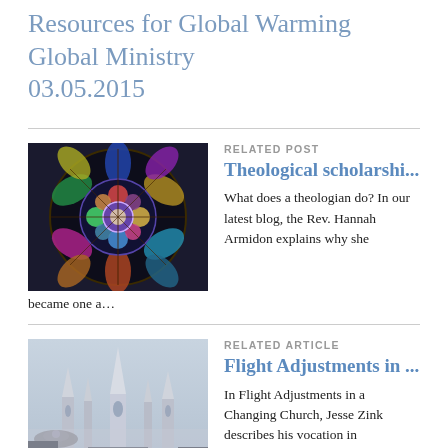Resources for Global Warming Global Ministry 03.05.2015
[Figure (photo): Stained glass rose window with colorful biblical scenes, gothic cathedral style]
RELATED POST
Theological scholarshi...
What does a theologian do? In our latest blog, the Rev. Hannah Armidon explains why she became one a…
[Figure (photo): Fantasy or sci-fi castle/city landscape with spacecraft, white stone architecture against gray sky]
RELATED ARTICLE
Flight Adjustments in ...
In Flight Adjustments in a Changing Church, Jesse Zink describes his vocation in